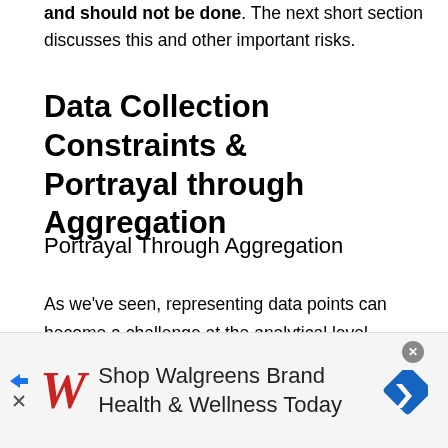and should not be done. The next short section discusses this and other important risks.
Data Collection Constraints & Portrayal through Aggregation
Portrayal Through Aggregation
As we’ve seen, representing data points can become a challenge at the analytical level because any aggregate we choose to employ will remove some data points. In other words, analysts make choices about how to treat data points, and this impacts our
[Figure (other): Advertisement banner for Walgreens Brand Health & Wellness Today with Walgreens logo and navigation icon]